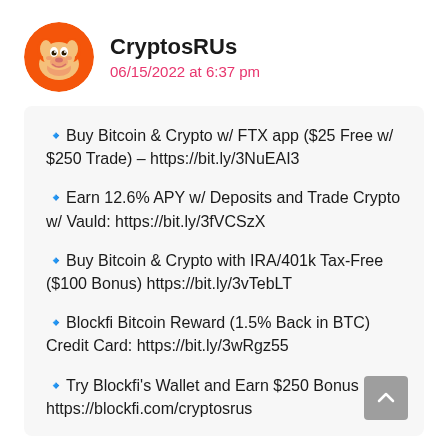[Figure (illustration): Shiba Inu dog face avatar icon with orange/red circular background]
CryptosRUs
06/15/2022 at 6:37 pm
🔹Buy Bitcoin & Crypto w/ FTX app ($25 Free w/ $250 Trade) – https://bit.ly/3NuEAI3

🔹Earn 12.6% APY w/ Deposits and Trade Crypto w/ Vauld: https://bit.ly/3fVCSzX

🔹Buy Bitcoin & Crypto with IRA/401k Tax-Free ($100 Bonus) https://bit.ly/3vTebLT

🔹Blockfi Bitcoin Reward (1.5% Back in BTC) Credit Card: https://bit.ly/3wRgz55

🔹Try Blockfi's Wallet and Earn $250 Bonus https://blockfi.com/cryptosrus